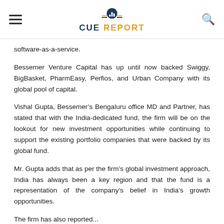CUE REPORT
software-as-a-service.
Bessemer Venture Capital has up until now backed Swiggy, BigBasket, PharmEasy, Perfios, and Urban Company with its global pool of capital.
Vishal Gupta, Bessemer’s Bengaluru office MD and Partner, has stated that with the India-dedicated fund, the firm will be on the lookout for new investment opportunities while continuing to support the existing portfolio companies that were backed by its global fund.
Mr. Gupta adds that as per the firm’s global investment approach, India has always been a key region and that the fund is a representation of the company’s belief in India’s growth opportunities.
The firm has also reported...